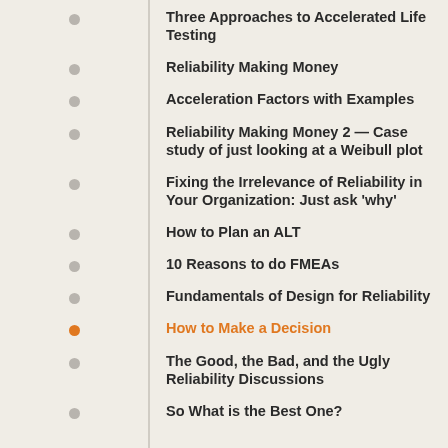Three Approaches to Accelerated Life Testing
Reliability Making Money
Acceleration Factors with Examples
Reliability Making Money 2 — Case study of just looking at a Weibull plot
Fixing the Irrelevance of Reliability in Your Organization: Just ask 'why'
How to Plan an ALT
10 Reasons to do FMEAs
Fundamentals of Design for Reliability
How to Make a Decision
The Good, the Bad, and the Ugly Reliability Discussions
So What is the Best One?